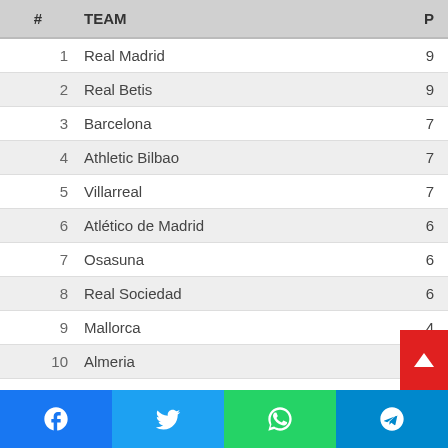| # | TEAM | P |
| --- | --- | --- |
| 1 | Real Madrid | 9 |
| 2 | Real Betis | 9 |
| 3 | Barcelona | 7 |
| 4 | Athletic Bilbao | 7 |
| 5 | Villarreal | 7 |
| 6 | Atlético de Madrid | 6 |
| 7 | Osasuna | 6 |
| 8 | Real Sociedad | 6 |
| 9 | Mallorca | 4 |
| 10 | Almeria | 4 |
| 11 | Rayo Vallecano | 4 |
| 12 | Celta Vigo | 4 |
| 13 | Girona | 3 |
| 14 | Valencia | 3 |
| 15 | Sevilla |  |
| 16 | Espanyol |  |